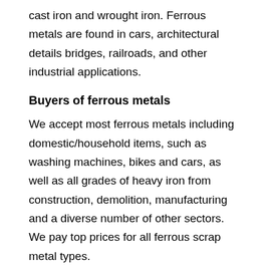cast iron and wrought iron. Ferrous metals are found in cars, architectural details bridges, railroads, and other industrial applications.
Buyers of ferrous metals
We accept most ferrous metals including domestic/household items, such as washing machines, bikes and cars, as well as all grades of heavy iron from construction, demolition, manufacturing and a diverse number of other sectors. We pay top prices for all ferrous scrap metal types.
Why recycle metals?
You can recycle metal materials infinitely without